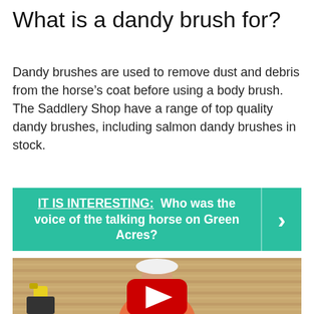What is a dandy brush for?
Dandy brushes are used to remove dust and debris from the horse’s coat before using a body brush. The Saddlery Shop have a range of top quality dandy brushes, including salmon dandy brushes in stock.
IT IS INTERESTING:  Who was the voice of the talking horse on Green Acres?
[Figure (photo): Video thumbnail showing a person in an orange shirt and white cap in a stable/barn setting, with a YouTube play button overlay]